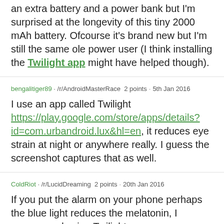an extra battery and a power bank but I'm surprised at the longevity of this tiny 2000 mAh battery. Ofcourse it's brand new but I'm still the same ole power user (I think installing the Twilight app might have helped though).
bengalitiger89 · /r/AndroidMasterRace  2 points · 5th Jan 2016
I use an app called Twilight https://play.google.com/store/apps/details?id=com.urbandroid.lux&amp;hl=en, it reduces eye strain at night or anywhere really. I guess the screenshot captures that as well.
ColdRiot · /r/LucidDreaming  2 points · 20th Jan 2016
If you put the alarm on your phone perhaps the blue light reduces the melatonin, I recommend using Twilight